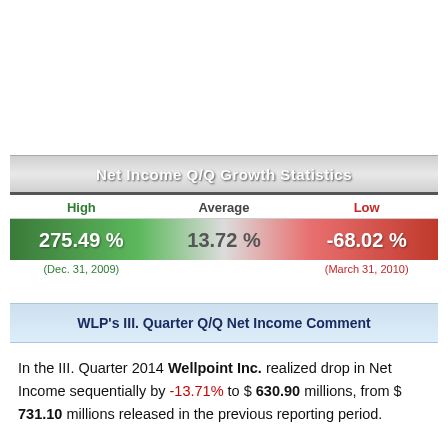| High | Average | Low |
| --- | --- | --- |
| 275.49 % | 13.72 % | -68.02 % |
| (Dec. 31, 2009) |  | (March 31, 2010) |
WLP's III. Quarter Q/Q Net Income Comment
In the III. Quarter 2014 Wellpoint Inc. realized drop in Net Income sequentially by -13.71% to $ 630.90 millions, from $ 731.10 millions released in the previous reporting period.